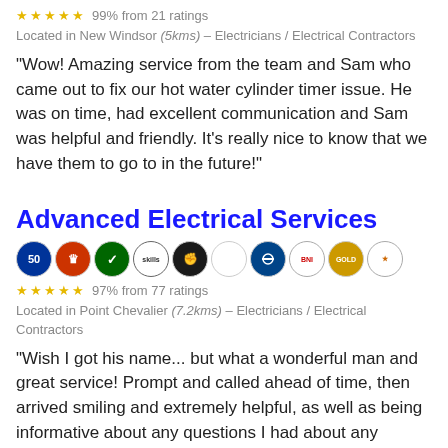★★★★★ 99% from 21 ratings
Located in New Windsor (5kms) – Electricians / Electrical Contractors
"Wow! Amazing service from the team and Sam who came out to fix our hot water cylinder timer issue. He was on time, had excellent communication and Sam was helpful and friendly. It's really nice to know that we have them to go to in the future!"
Advanced Electrical Services
[Figure (logo): Row of certification/membership badge icons]
★★★★★ 97% from 77 ratings
Located in Point Chevalier (7.2kms) – Electricians / Electrical Contractors
"Wish I got his name... but what a wonderful man and great service! Prompt and called ahead of time, then arrived smiling and extremely helpful, as well as being informative about any questions I had about any electrical